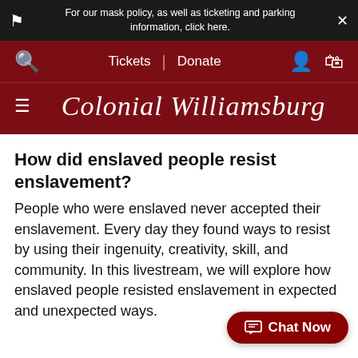For our mask policy, as well as ticketing and parking information, click here.
Tickets | Donate
Colonial Williamsburg
How did enslaved people resist enslavement?
People who were enslaved never accepted their enslavement. Every day they found ways to resist by using their ingenuity, creativity, skill, and community. In this livestream, we will explore how enslaved people resisted enslavement in expected and unexpected ways.